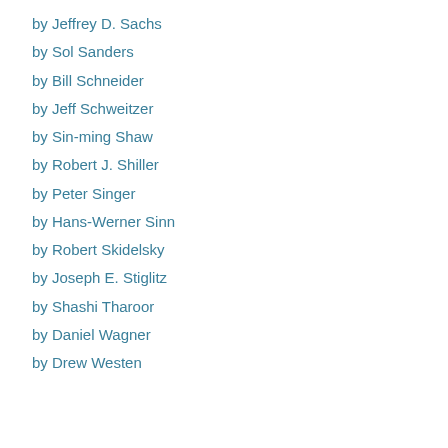by Jeffrey D. Sachs
by Sol Sanders
by Bill Schneider
by Jeff Schweitzer
by Sin-ming Shaw
by Robert J. Shiller
by Peter Singer
by Hans-Werner Sinn
by Robert Skidelsky
by Joseph E. Stiglitz
by Shashi Tharoor
by Daniel Wagner
by Drew Westen